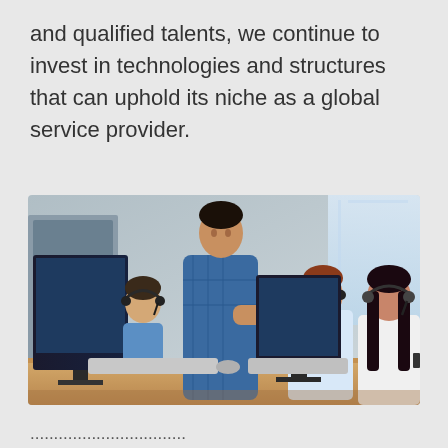and qualified talents, we continue to invest in technologies and structures that can uphold its niche as a global service provider.
[Figure (photo): A call center office scene with four people wearing headsets working at computers. A man in a blue plaid shirt stands behind, leaning over and looking at the screen. Three workers are seated: one on the left in a light blue shirt with a headset, one in the center in a white shirt with a headset, and a woman on the right with dark hair wearing a white top and headset.]
...